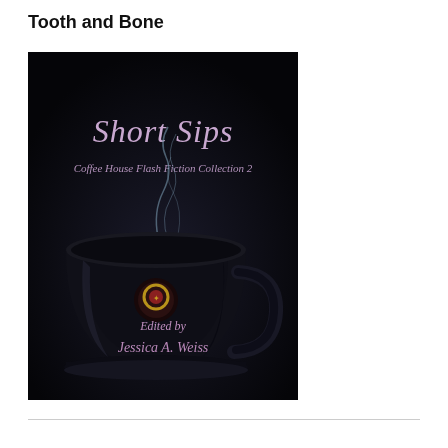Tooth and Bone
[Figure (illustration): Book cover for 'Short Sips: Coffee House Flash Fiction Collection 2', edited by Jessica A. Weiss. Dark background with a steaming black coffee mug. Title text in decorative purple/lavender font at top. A small figure/trinket on the cup. Steam rising in a swirl. Editor credit at the bottom in decorative script.]